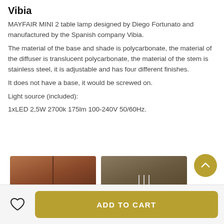Vibia
MAYFAIR MINI 2 table lamp designed by Diego Fortunato and manufactured by the Spanish company Vibia.
The material of the base and shade is polycarbonate, the material of the diffuser is translucent polycarbonate, the material of the stem is stainless steel, it is adjustable and has four different finishes.
It does not have a base, it would be screwed on.
Light source (included):
1xLED 2,5W 2700k 175lm 100-240V 50/60Hz.
[Figure (photo): Photo of Mayfair Mini lamp shade in dark reddish-brown color viewed from below, showing the stem and a glowing gold light source]
[Figure (photo): Photo of Mayfair Mini table lamps with white shade and thin metal stems on a dark background]